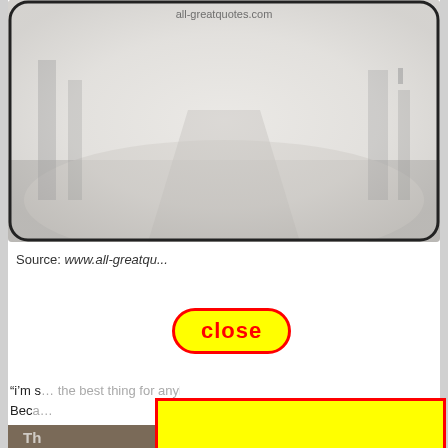[Figure (photo): Black and white foggy road scene with a distant figure, rounded rectangle frame, watermark 'all-greatquotes.com' at top]
Source: www.all-greatqu...
[Figure (other): Red-bordered rounded rectangle 'close' button with yellow background]
“i’m s… the best thing for anybody
Beca…
[Figure (photo): Partially visible inspirational image with text 'Th...' and 'Un...' and 'Always missing you' at bottom]
[Figure (other): Large yellow rectangle with red border overlay covering center-right of page (advertisement or popup)]